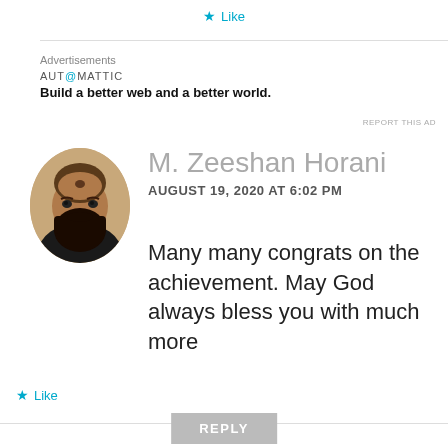★ Like
Advertisements
AUT@MATTIC
Build a better web and a better world.
REPORT THIS AD
[Figure (photo): Profile photo of M. Zeeshan Horani, a man with a beard]
M. Zeeshan Horani
AUGUST 19, 2020 AT 6:02 PM
Many many congrats on the achievement. May God always bless you with much more
★ Like
REPLY